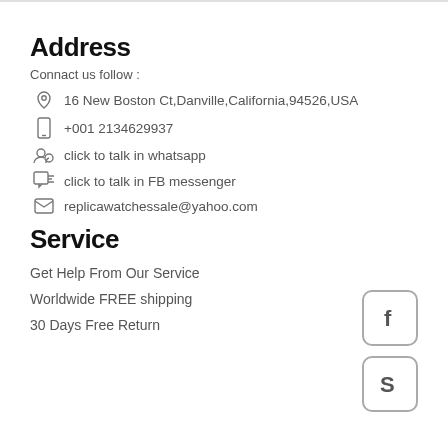Address
Connact us follow :
16 New Boston Ct,Danville,California,94526,USA
+001 2134629937
click to talk in whatsapp
click to talk in FB messenger
replicawatchessale@yahoo.com
Service
Get Help From Our Service
Worldwide FREE shipping
30 Days Free Return